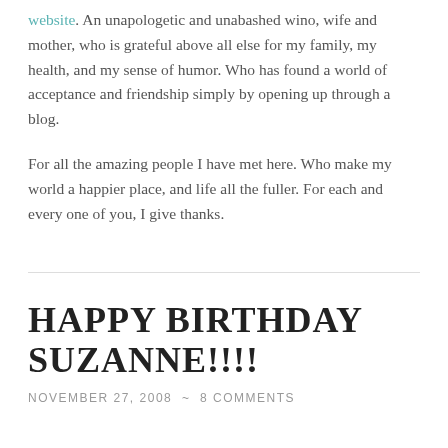website. An unapologetic and unabashed wino, wife and mother, who is grateful above all else for my family, my health, and my sense of humor. Who has found a world of acceptance and friendship simply by opening up through a blog.
For all the amazing people I have met here. Who make my world a happier place, and life all the fuller. For each and every one of you, I give thanks.
HAPPY BIRTHDAY SUZANNE!!!!
NOVEMBER 27, 2008  ~  8 COMMENTS